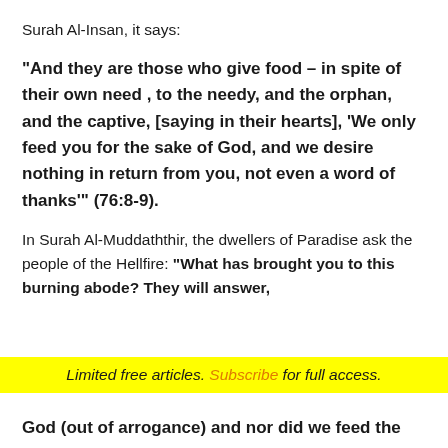Surah Al-Insan, it says:
“And they are those who give food – in spite of their own need , to the needy, and the orphan, and the captive, [saying in their hearts], ‘We only feed you for the sake of God, and we desire nothing in return from you, not even a word of thanks’”  (76:8-9).
In Surah Al-Muddaththir, the dwellers of Paradise ask the people of the Hellfire: “What has brought you to this burning abode? They will answer,
Limited free articles. Subscribe for full access.
God (out of arrogance) and nor did we feed the